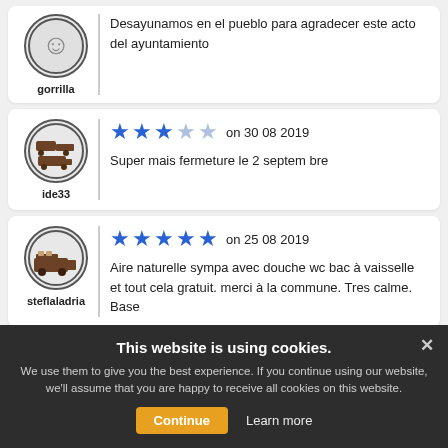gorrilla — Desayunamos en el pueblo para agradecer este acto del ayuntamiento
ide33 — ★★★☆☆ on 30 08 2019 — Super mais fermeture le 2 septem bre
steflaladria — ★★★★★ on 25 08 2019 — Aire naturelle sympa avec douche wc bac à vaisselle et tout cela gratuit. merci à la commune. Tres calme. Base
Cookie banner: This website is using cookies. We use them to give you the best experience. If you continue using our website, we'll assume that you are happy to receive all cookies on this website. Continue | Learn more